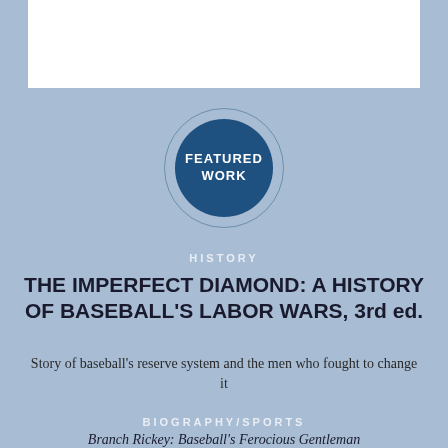[Figure (illustration): White rectangle box at top of page, representing an image placeholder]
[Figure (infographic): Dark blue filled circle with text FEATURED WORK inside, surrounded by a thin circular border ring, on a light blue background]
HISTORY
THE IMPERFECT DIAMOND: A HISTORY OF BASEBALL'S LABOR WARS, 3rd ed.
Story of baseball's reserve system and the men who fought to change it
BIOGRAPHY/SPORTS
Branch Rickey: Baseball's Ferocious Gentleman